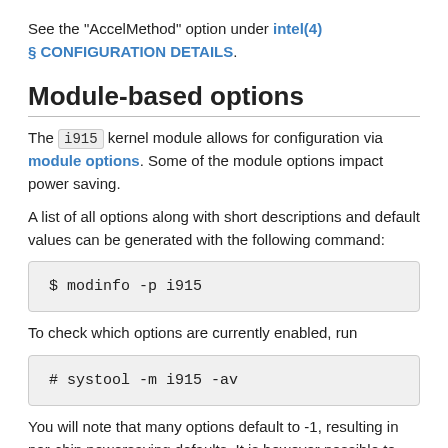See the "AccelMethod" option under intel(4) § CONFIGURATION DETAILS.
Module-based options
The i915 kernel module allows for configuration via module options. Some of the module options impact power saving.
A list of all options along with short descriptions and default values can be generated with the following command:
To check which options are currently enabled, run
You will note that many options default to -1, resulting in per-chip powersaving defaults. It is however possible to configure more aggressive powersaving by using module options.